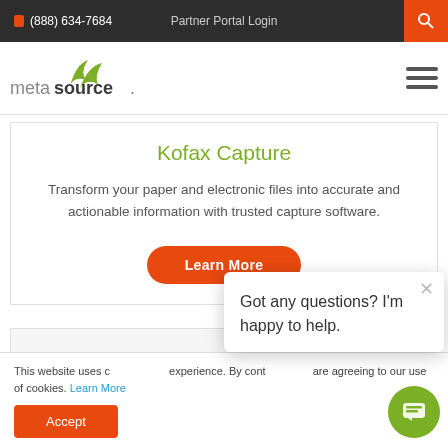(888) 634-7684   Partner Portal Login
[Figure (logo): MetaSource logo with green swoosh icon and lowercase 'metasource.' wordmark]
Kofax Capture
Transform your paper and electronic files into accurate and actionable information with trusted capture software.
Learn More
This website uses c... experience. By cont... are agreeing to our use of cookies. Learn More
Accept
Got any questions? I'm happy to help.